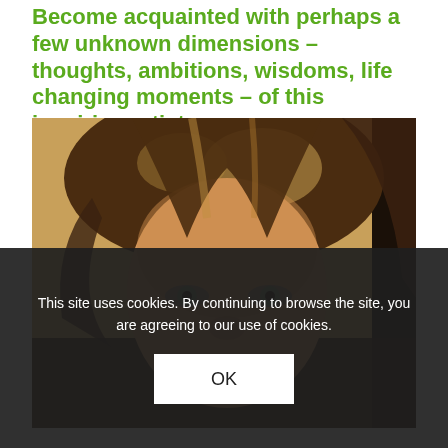Become acquainted with perhaps a few unknown dimensions – thoughts, ambitions, wisdoms, life changing moments – of this inspiring artist.
[Figure (photo): Close-up portrait photo of a woman with curly/wavy highlighted brown hair, looking directly at the camera with a slight smile. Face partially cropped. Warm brownish background.]
This site uses cookies. By continuing to browse the site, you are agreeing to our use of cookies.
OK